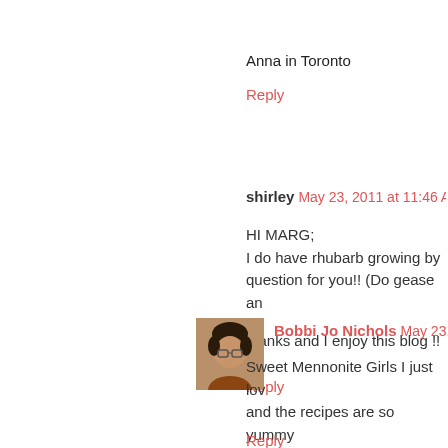Anna in Toronto
Reply
shirley May 23, 2011 at 11:46 A
HI MARG;
I do have rhubarb growing by question for you!! (Do gease an

thanks and I enjoy this blog !!
Reply
[Figure (photo): Profile photo of Bobbi Jo Nichols, a woman with short hair and glasses]
Bobbi Jo Nichols May 23, 201
Sweet Mennonite Girls I just lov and the recipes are so yummy sharing with us all. Hugs, Bobbi
Reply